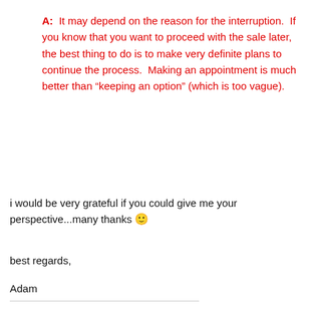A:  It may depend on the reason for the interruption.  If you know that you want to proceed with the sale later, the best thing to do is to make very definite plans to continue the process.  Making an appointment is much better than “keeping an option” (which is too vague).
i would be very grateful if you could give me your perspective...many thanks 🙂
best regards,
Adam